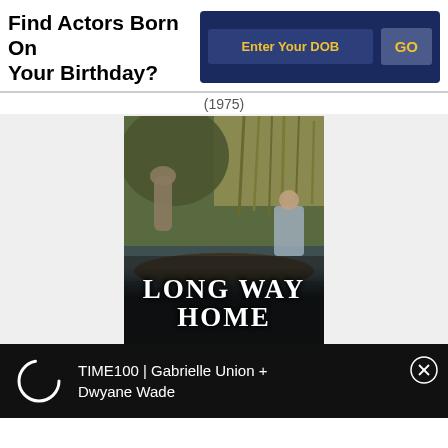Find Actors Born On Your Birthday?
Enter Your DOB
GO
(1975)
[Figure (photo): Movie poster for 'Long Way Home' (1975) showing an outdoor nature/creek scene with a person visible, text overlay reading LONG WAY HOME in large white serif font]
TIME100 | Gabrielle Union + Dwyane Wade